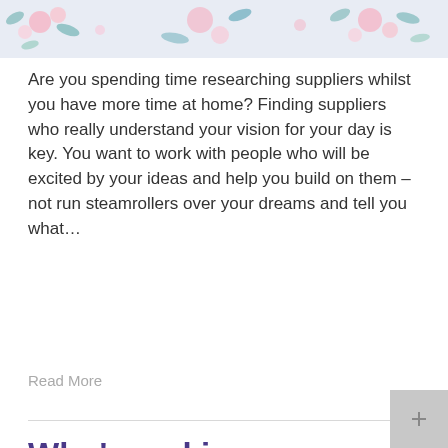[Figure (illustration): Floral decorative banner with pink flowers and blue-green leaves on a light lavender background]
Are you spending time researching suppliers whilst you have more time at home? Finding suppliers who really understand your vision for your day is key. You want to work with people who will be excited by your ideas and help you build on them – not run steamrollers over your dreams and tell you what…
Read More
Who's making a speech at your wedding?